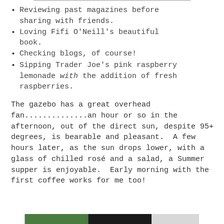Reviewing past magazines before sharing with friends.
Loving Fifi O'Neill's beautiful book.
Checking blogs, of course!
Sipping Trader Joe's pink raspberry lemonade with the addition of fresh raspberries.
The gazebo has a great overhead fan..............an hour or so in the afternoon, out of the direct sun, despite 95+ degrees, is bearable and pleasant.  A few hours later, as the sun drops lower, with a glass of chilled rosé and a salad, a Summer supper is enjoyable.  Early morning with the first coffee works for me too!
[Figure (photo): Partial image visible at bottom of page, appears to show green and dark elements]